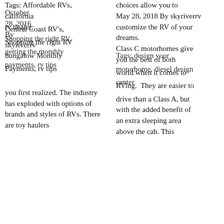Tags: Affordable RVs, california rv dealer, Central Coast RV's, Shopping the right RV, bungalow monthly payments, rv tips

you first realized. The industry has exploded with options of brands and styles of RVs. There are toy haulers
choices allow you to
May 28, 2018 By skyriverrv customize the RV of your dreams.
Class C motorhomes give you the best of both Tags: design your motorhome, diesel design RVing. They are easier to center drive than a Class A, but with the added benefit of an extra sleeping area above the cab. This
Blog
Search
Recent Posts
5 th... Travel Trailer You Need to S...